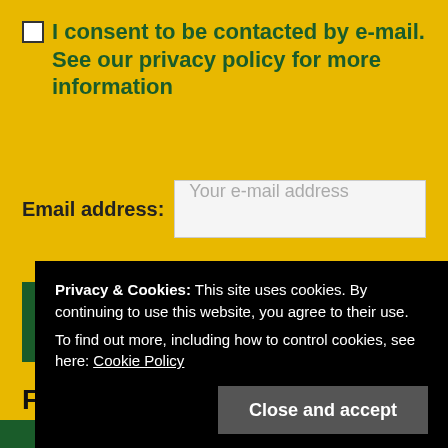I consent to be contacted by e-mail. See our privacy policy for more information
Email address: Your e-mail address
Sign up
Find us on social media
[Figure (illustration): Three green social media icon buttons (Twitter/X, Facebook, Instagram)]
Privacy & Cookies: This site uses cookies. By continuing to use this website, you agree to their use. To find out more, including how to control cookies, see here: Cookie Policy
Close and accept